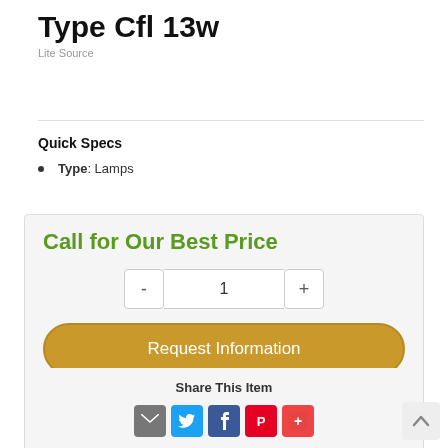Type Cfl 13w
Lite Source
Quick Specs
Type: Lamps
Call for Our Best Price
1
Request Information
Share This Item